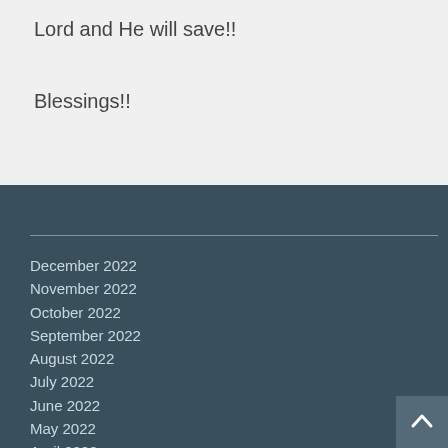Lord and He will save!!
Blessings!!
December 2022
November 2022
October 2022
September 2022
August 2022
July 2022
June 2022
May 2022
April 2022
March 2022
February 2022